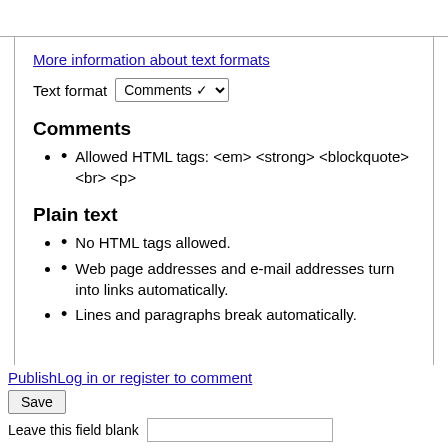More information about text formats
Text format  Comments
Comments
Allowed HTML tags: <em> <strong> <blockquote> <br> <p>
Plain text
No HTML tags allowed.
Web page addresses and e-mail addresses turn into links automatically.
Lines and paragraphs break automatically.
PublishLog in or register to comment
Save
Leave this field blank